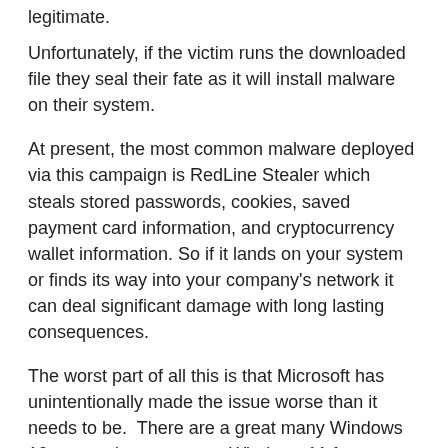legitimate.
Unfortunately, if the victim runs the downloaded file they seal their fate as it will install malware on their system.
At present, the most common malware deployed via this campaign is RedLine Stealer which steals stored passwords, cookies, saved payment card information, and cryptocurrency wallet information. So if it lands on your system or finds its way into your company's network it can deal significant damage with long lasting consequences.
The worst part of all this is that Microsoft has unintentionally made the issue worse than it needs to be.  There are a great many Windows 10 users who cannot get Windows 11 from official distribution channels due to hardware incompatibilities. That has created an enormous opportunity for hackers around the world and they are wasting no time exploiting that opportunity.